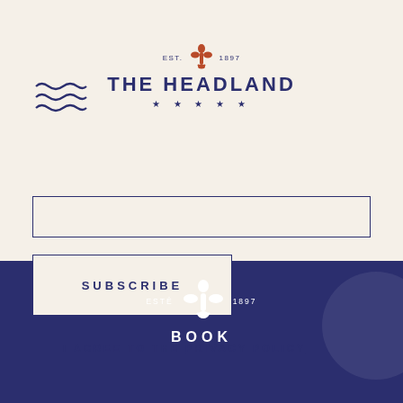[Figure (logo): The Headland hotel logo with fleur-de-lis, EST. 1897 text, and five stars on cream background]
[Figure (illustration): Three wavy lines decoration in dark navy, top-left corner]
SUBSCRIBE
I AGREE TO THE PRIVACY POLICY
[Figure (logo): The Headland white fleur-de-lis logo on dark navy background with EST. 1897 and BOOK text]
BOOK